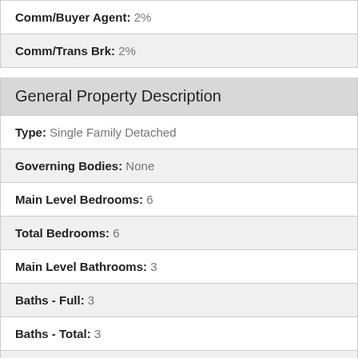Comm/Buyer Agent: 2%
Comm/Trans Brk: 2%
General Property Description
Type: Single Family Detached
Governing Bodies: None
Main Level Bedrooms: 6
Total Bedrooms: 6
Main Level Bathrooms: 3
Baths - Full: 3
Baths - Total: 3
Property Condition: Resale
Year Built: 2004
SqFt - Total: 3994